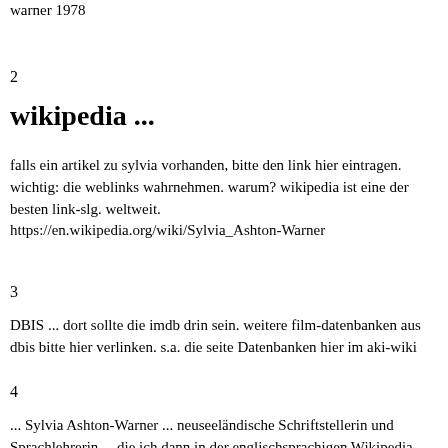warner 1978
2
wikipedia ...
falls ein artikel zu sylvia vorhanden, bitte den link hier eintragen. wichtig: die weblinks wahrnehmen. warum? wikipedia ist eine der besten link-slg. weltweit.
https://en.wikipedia.org/wiki/Sylvia_Ashton-Warner
3
DBIS ... dort sollte die imdb drin sein. weitere film-datenbanken aus dbis bitte hier verlinken. s.a. die seite Datenbanken hier im aki-wiki
4
... Sylvia Ashton-Warner ... neuseeländische Schriftstellerin und Sprachlehrerin ... die ich dann in der englischsprachigen Wikipedia